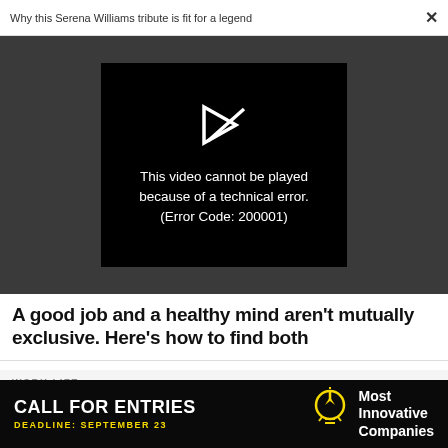Why this Serena Williams tribute is fit for a legend  ×
[Figure (screenshot): Video player showing error message: 'This video cannot be played because of a technical error. (Error Code: 200001)' on a dark gray background with a black video frame and a white play/error icon.]
A good job and a healthy mind aren't mutually exclusive. Here's how to find both
WORK LIFE
Why a 'skip-level meeting' is key to building your career
[Figure (infographic): Advertisement banner: CALL FOR ENTRIES, DEADLINE: SEPTEMBER 23, lightbulb icon, Most Innovative Companies]